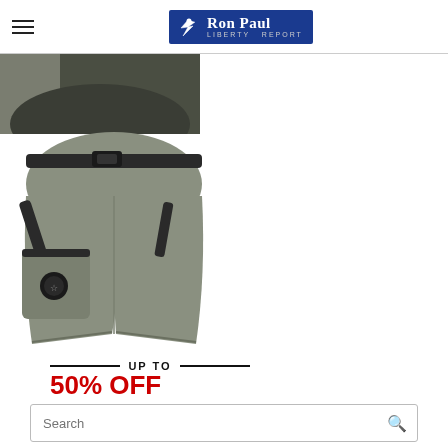Ron Paul Liberty Report
[Figure (photo): Partial view of a dark-colored item (cropped at top of page)]
[Figure (photo): Tactical/outdoor cargo shorts in olive/grey color with black straps and buckle belt, multiple pockets]
UP TO
50% OFF